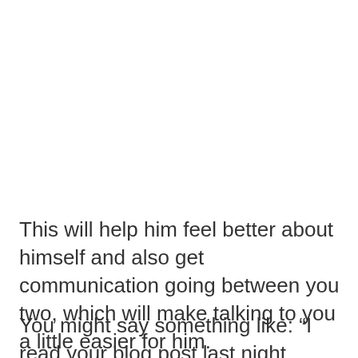This will help him feel better about himself and also get communication going between you two, which will make talking to you a little easier for him.
You might say something like: “I read your blog post last night about your visit in Venice, and it was so well-written that I can’t wait for the day I’d be able to visit the place too!”